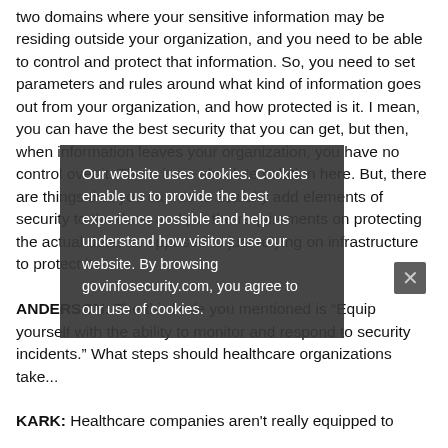two domains where your sensitive information may be residing outside your organization, and you need to be able to control and protect that information. So, you need to set parameters and rules around what kind of information goes out from your organization, and how protected is it. I mean, you can have the best security that you can get, but then, when information leaves your organization, you have no control over it. There is no absolute solution here. But, there are things that you can do to actually add elements of security to the data, and put the requirements on protecting the actual data, as opposed to just relying on infrastructure to protect it
ANDERSON: The third rule you mentioned is "Equip yourself with the ability to monitor and respond to security incidents." What steps should healthcare organizations take...
KARK: Healthcare companies aren't really equipped to
Our website uses cookies. Cookies enable us to provide the best experience possible and help us understand how visitors use our website. By browsing govinfosecurity.com, you agree to our use of cookies.